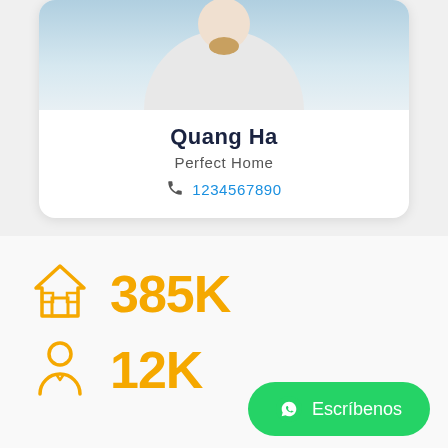[Figure (photo): Person in white shirt, top portion of profile card]
Quang Ha
Perfect Home
1234567890
385K
12K
Escríbenos